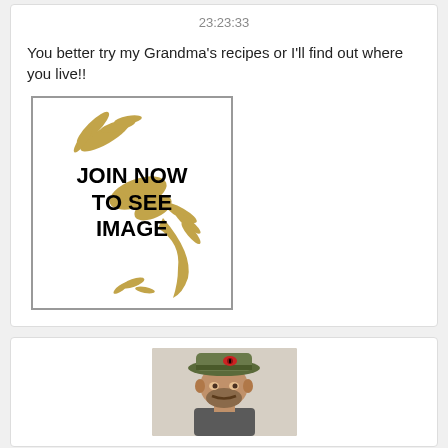23:23:33
You better try my Grandma's recipes or I'll find out where you live!!
[Figure (illustration): A box with decorative golden tribal/feather design in background and bold text reading JOIN NOW TO SEE IMAGE]
[Figure (photo): Photo of a man wearing a camouflage hat with a red eye emblem on it]